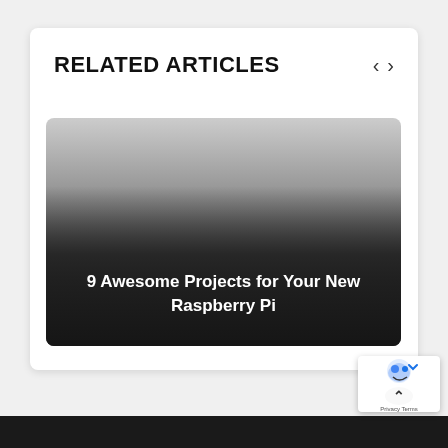RELATED ARTICLES
[Figure (screenshot): Article card with gradient background and title '9 Awesome Projects for Your New Raspberry Pi']
9 Awesome Projects for Your New Raspberry Pi
[Figure (logo): reCAPTCHA badge with dolphin/robot icon and up-arrow button]